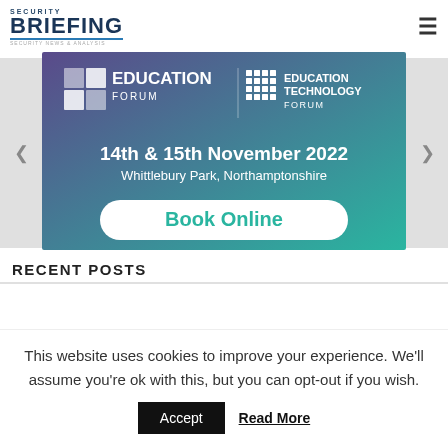SECURITY BRIEFING - Security News & Analysis
[Figure (illustration): Education Forum & Education Technology Forum banner ad for 14th & 15th November 2022 at Whittlebury Park, Northamptonshire with Book Online button. Purple to teal gradient background.]
RECENT POSTS
This website uses cookies to improve your experience. We'll assume you're ok with this, but you can opt-out if you wish.
Accept  Read More